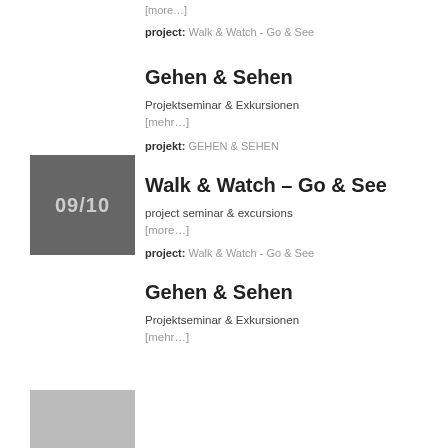[more…]
project: Walk & Watch - Go & See
[Figure (illustration): Gray square with text '09/10' in light gray]
Gehen & Sehen
Projektseminar & Exkursionen [mehr…]
projekt: GEHEN & SEHEN
Walk & Watch – Go & See
project seminar & excursions [more…]
project: Walk & Watch - Go & See
Gehen & Sehen
Projektseminar & Exkursionen [mehr…]
[Figure (illustration): Light gray rectangle at bottom left]